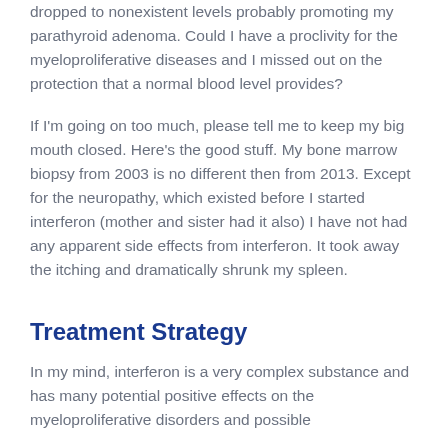dropped to nonexistent levels probably promoting my parathyroid adenoma. Could I have a proclivity for the myeloproliferative diseases and I missed out on the protection that a normal blood level provides?
If I'm going on too much, please tell me to keep my big mouth closed. Here's the good stuff. My bone marrow biopsy from 2003 is no different then from 2013. Except for the neuropathy, which existed before I started interferon (mother and sister had it also) I have not had any apparent side effects from interferon. It took away the itching and dramatically shrunk my spleen.
Treatment Strategy
In my mind, interferon is a very complex substance and has many potential positive effects on the myeloproliferative disorders and possible